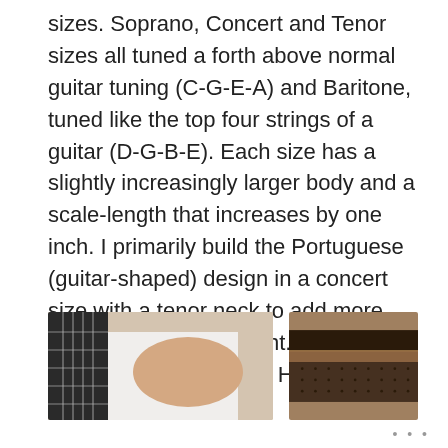sizes. Soprano, Concert and Tenor sizes all tuned a forth above normal guitar tuning (C-G-E-A) and Baritone, tuned like the top four strings of a guitar (D-G-B-E). Each size has a slightly increasingly larger body and a scale-length that increases by one inch. I primarily build the Portuguese (guitar-shaped) design in a concert size with a tenor neck to add more energy to the instrument. This is the most popular style with Hawaiian players.
[Figure (photo): Person holding or playing a ukulele, partial view showing instrument neck and strings with person in white shirt]
[Figure (photo): Workshop or display area showing wooden shelving or workbench with tools or instruments in background]
...